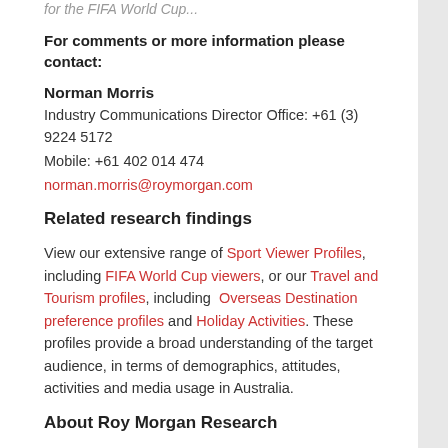for the FIFA World Cup...
For comments or more information please contact:
Norman Morris
Industry Communications Director Office: +61 (3) 9224 5172
Mobile: +61 402 014 474
norman.morris@roymorgan.com
Related research findings
View our extensive range of Sport Viewer Profiles, including FIFA World Cup viewers, or our Travel and Tourism profiles, including Overseas Destination preference profiles and Holiday Activities. These profiles provide a broad understanding of the target audience, in terms of demographics, attitudes, activities and media usage in Australia.
About Roy Morgan Research
Roy Morgan Research is the largest independent Australian research company, with offices in each state of Australia, as well as in New Zealand, the